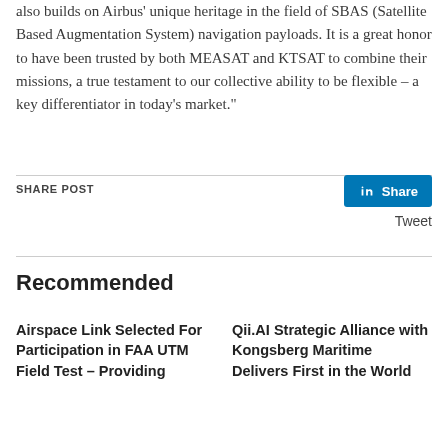also builds on Airbus' unique heritage in the field of SBAS (Satellite Based Augmentation System) navigation payloads. It is a great honor to have been trusted by both MEASAT and KTSAT to combine their missions, a true testament to our collective ability to be flexible – a key differentiator in today's market."
SHARE POST
[Figure (other): LinkedIn Share button (blue) and Tweet link]
Recommended
Airspace Link Selected For Participation in FAA UTM Field Test – Providing
Qii.AI Strategic Alliance with Kongsberg Maritime Delivers First in the World